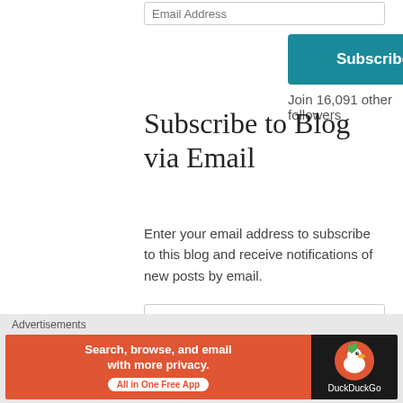Email Address
Subscribe
Join 16,091 other followers
Subscribe to Blog via Email
Enter your email address to subscribe to this blog and receive notifications of new posts by email.
Email Address
Subscribe
Join 16,091 other followers
Advertisements
[Figure (other): DuckDuckGo advertisement banner: Search, browse, and email with more privacy. All in One Free App. Shows DuckDuckGo logo on dark background.]